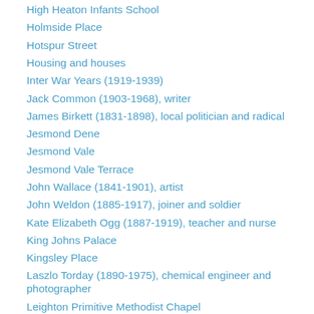High Heaton Infants School
Holmside Place
Hotspur Street
Housing and houses
Inter War Years (1919-1939)
Jack Common (1903-1968), writer
James Birkett (1831-1898), local politician and radical
Jesmond Dene
Jesmond Vale
Jesmond Vale Terrace
John Wallace (1841-1901), artist
John Weldon (1885-1917), joiner and soldier
Kate Elizabeth Ogg (1887-1919), teacher and nurse
King Johns Palace
Kingsley Place
Laszlo Torday (1890-1975), chemical engineer and photographer
Leighton Primitive Methodist Chapel
Lesbury Road
Lord William Armstrong (1810-1900), engineer and landowner
Lyric Theatre